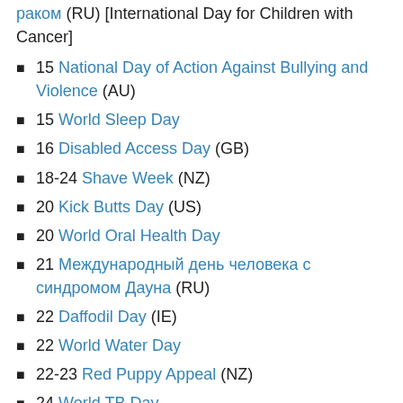раком (RU) [International Day for Children with Cancer]
15 National Day of Action Against Bullying and Violence (AU)
15 World Sleep Day
16 Disabled Access Day (GB)
18-24 Shave Week (NZ)
20 Kick Butts Day (US)
20 World Oral Health Day
21 Международный день человека с синдромом Дауна (RU)
22 Daffodil Day (IE)
22 World Water Day
22-23 Red Puppy Appeal (NZ)
24 World TB Day
26 Alert!Day (US)